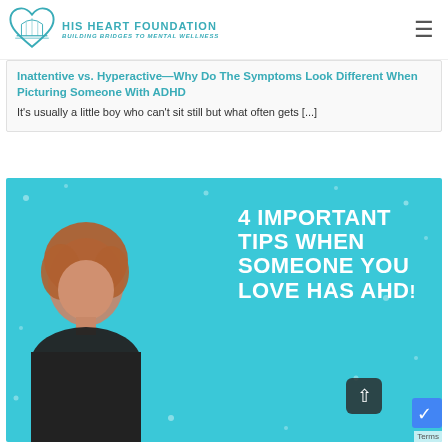HIS HEART FOUNDATION — BUILDING BRIDGES TO MENTAL WELLNESS
Inattentive vs. Hyperactive—Why Do The Symptoms Look Different When Picturing Someone With ADHD
It's usually a little boy who can't sit still but what often gets [...]
[Figure (photo): Thumbnail image with teal background showing a woman with curly hair in a black outfit, with bold white text reading '4 IMPORTANT TIPS WHEN SOMEONE YOU LOVE HAS ADHD']